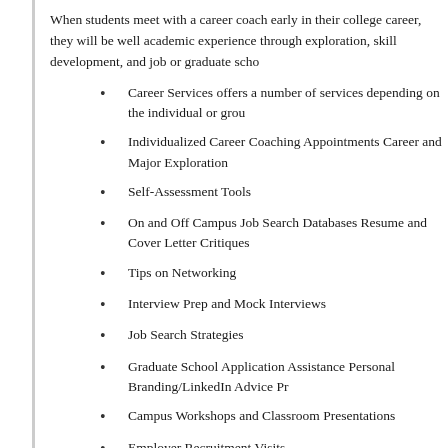When students meet with a career coach early in their college career, they will be well academic experience through exploration, skill development, and job or graduate scho
Career Services offers a number of services depending on the individual or grou
Individualized Career Coaching Appointments Career and Major Exploration
Self-Assessment Tools
On and Off Campus Job Search Databases Resume and Cover Letter Critiques
Tips on Networking
Interview Prep and Mock Interviews
Job Search Strategies
Graduate School Application Assistance Personal Branding/LinkedIn Advice Pr
Campus Workshops and Classroom Presentations
Employer Recruitment Visits
Career Series Workshops
Diversity & Career Series Program
Women's Leadership Initiative Conference